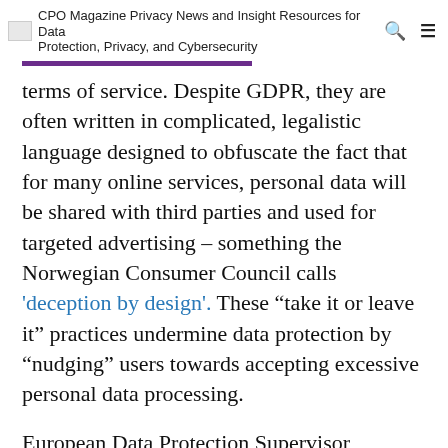CPO Magazine Privacy News and Insight Resources for Data Protection, Privacy, and Cybersecurity
terms of service. Despite GDPR, they are often written in complicated, legalistic language designed to obfuscate the fact that for many online services, personal data will be shared with third parties and used for targeted advertising – something the Norwegian Consumer Council calls 'deception by design'. These "take it or leave it" practices undermine data protection by "nudging" users towards accepting excessive personal data processing.
European Data Protection Supervisor, Giovanni Buttarelli pointed out: "Terms of service are generally designed to safeguard a